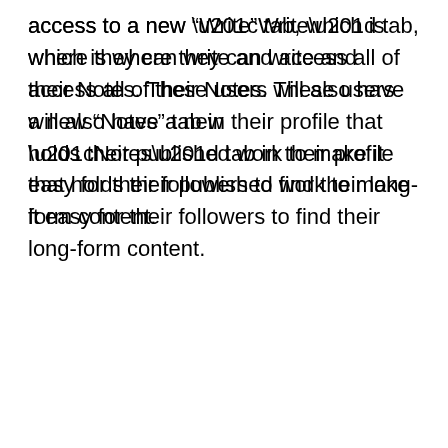access to a new “Write” tab, which is where they can write and access all of their Notes. These users will also have a new “Notes” tab in their profile that holds their published work to make it easy for their followers to find their long-form content.
✨ Introducing: Notes ✨
We’re testing a way to write longer on Twitter.
pic.twitter.com/SnrS4O6toX